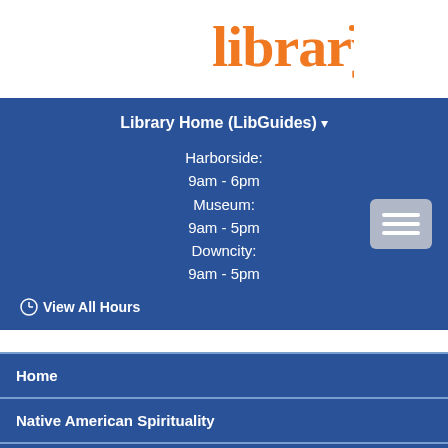[Figure (logo): JWU Library Providence logo: 'jwu' in white and 'library' in orange, with 'PROVIDENCE' below in white spaced letters]
Library Home (LibGuides) ▾
Harborside:
9am - 6pm
Museum:
9am - 5pm
Downcity:
9am - 5pm
⊙ View All Hours
Home
Native American Spirituality
Native American History